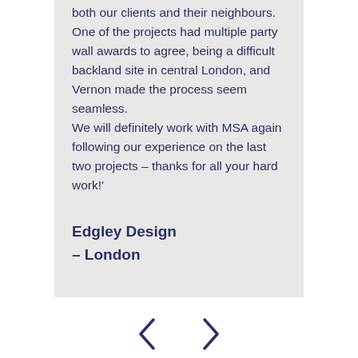both our clients and their neighbours. One of the projects had multiple party wall awards to agree, being a difficult backland site in central London, and Vernon made the process seem seamless. We will definitely work with MSA again following our experience on the last two projects – thanks for all your hard work!'
Edgley Design – London
[Figure (other): Navigation arrows (left chevron and right chevron) for a testimonial carousel]